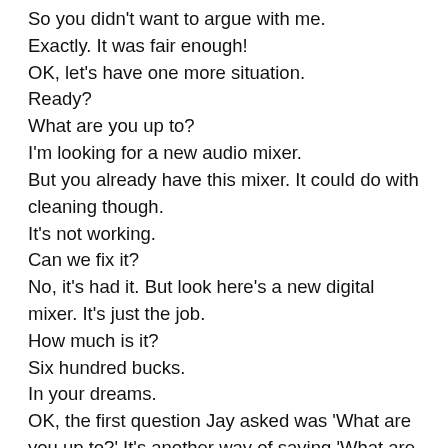So you didn't want to argue with me.
Exactly. It was fair enough!
OK, let's have one more situation.
Ready?
What are you up to?
I'm looking for a new audio mixer.
But you already have this mixer. It could do with cleaning though.
It's not working.
Can we fix it?
No, it's had it. But look here's a new digital mixer. It's just the job.
How much is it?
Six hundred bucks.
In your dreams.
OK, the first question Jay asked was 'What are you up to?' It's another way of saying 'What are